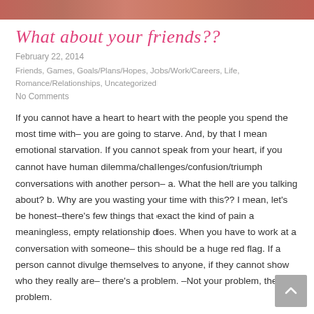[Figure (photo): Top banner photo strip showing people]
What about your friends??
February 22, 2014
Friends, Games, Goals/Plans/Hopes, Jobs/Work/Careers, Life, Romance/Relationships, Uncategorized
No Comments
If you cannot have a heart to heart with the people you spend the most time with– you are going to starve. And, by that I mean emotional starvation. If you cannot speak from your heart, if you cannot have human dilemma/challenges/confusion/triumph conversations with another person– a. What the hell are you talking about? b. Why are you wasting your time with this?? I mean, let's be honest–there's few things that exact the kind of pain a meaningless, empty relationship does. When you have to work at a conversation with someone– this should be a huge red flag. If a person cannot divulge themselves to anyone, if they cannot show who they really are– there's a problem. –Not your problem, their problem.